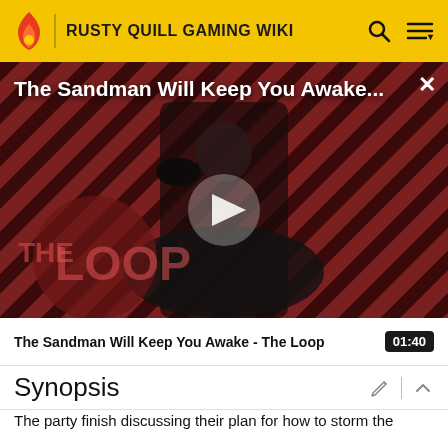RUSTY QUILL GAMING WIKI
[Figure (screenshot): Video thumbnail for 'The Sandman Will Keep You Awake - The Loop' showing a dark-cloaked figure against a red and black diagonal striped background with 'THE LOOP' watermark. A play button is centered on the thumbnail.]
The Sandman Will Keep You Awake - The Loop   01:40
Synopsis
The party finish discussing their plan for how to storm the